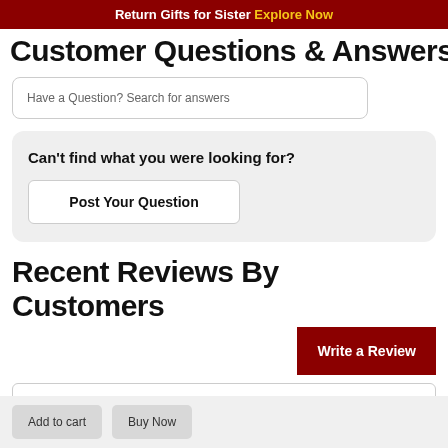Return Gifts for Sister Explore Now
Customer Questions & Answers
Have a Question? Search for answers
Can't find what you were looking for?
Post Your Question
Recent Reviews By Customers
Write a Review
Add to cart
Buy Now